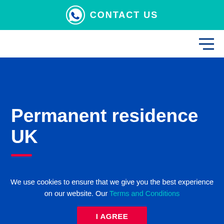CONTACT US
Permanent residence UK
We use cookies to ensure that we give you the best experience on our website. Our Terms and Conditions
I AGREE